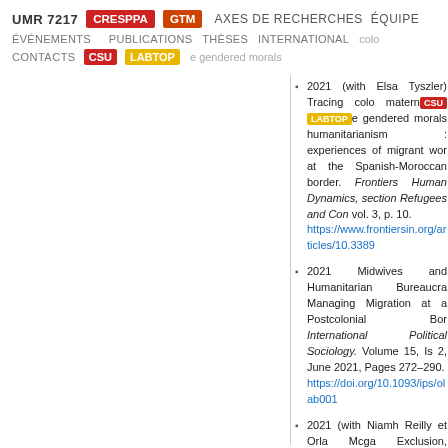UMR 7217  CRESPPA  GTM  AXES DE RECHERCHES  ÉQUIPE
ÉVÉNEMENTS  PUBLICATIONS  THÈSES  INTERNATIONAL  CONTACTS  CSU  LABTOP
2021 (with Elsa Tyszler) Tracing colonial maternalism : gendered morals humanitarianism : experiences of migrant wor at the Spanish-Moroccan border. Frontiers Human Dynamics, section Refugees and Con vol. 3, p. 10. https://www.frontiersin.org/articles/10.3389
2021 Midwives and Humanitarian Bureaucra Managing Migration at a Postcolonial Bor International Political Sociology. Volume 15, Is 2, June 2021, Pages 272–290. https://doi.org/10.1093/ips/olab001
2021 (with Niamh Reilly et Orla Mcga Exclusion, Minimization, Inaction : A Cri Review of Ireland's Policy Response to Gen Based Violence as It Affects Migrant Wom Frontiers in Human Dynamics, section Refu and Conflict.